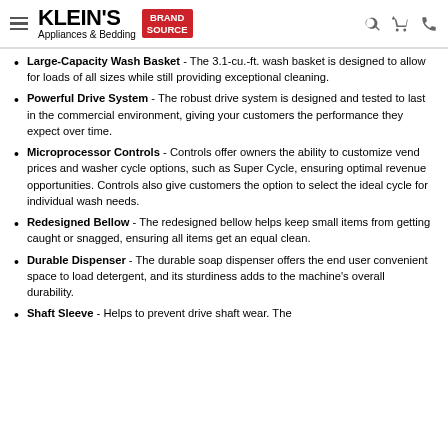KLEIN'S Appliances & Bedding BRAND SOURCE
Large-Capacity Wash Basket - The 3.1-cu.-ft. wash basket is designed to allow for loads of all sizes while still providing exceptional cleaning.
Powerful Drive System - The robust drive system is designed and tested to last in the commercial environment, giving your customers the performance they expect over time.
Microprocessor Controls - Controls offer owners the ability to customize vend prices and washer cycle options, such as Super Cycle, ensuring optimal revenue opportunities. Controls also give customers the option to select the ideal cycle for individual wash needs.
Redesigned Bellow - The redesigned bellow helps keep small items from getting caught or snagged, ensuring all items get an equal clean.
Durable Dispenser - The durable soap dispenser offers the end user convenient space to load detergent, and its sturdiness adds to the machine's overall durability.
Shaft Sleeve - Helps to prevent drive shaft wear. The